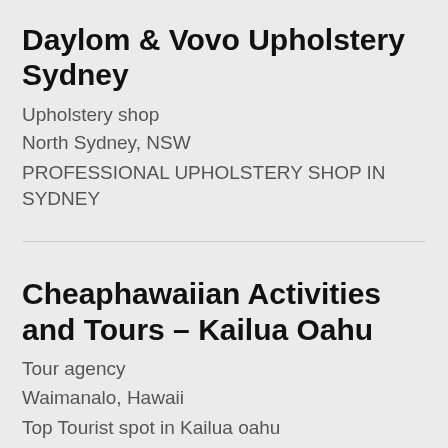Daylom & Vovo Upholstery Sydney
Upholstery shop
North Sydney, NSW
PROFESSIONAL UPHOLSTERY SHOP IN SYDNEY
Cheaphawaiian Activities and Tours – Kailua Oahu
Tour agency
Waimanalo, Hawaii
Top Tourist spot in Kailua oahu